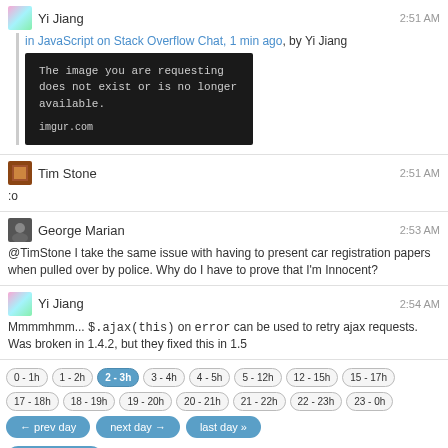Yi Jiang — 2:51 AM — in JavaScript on Stack Overflow Chat, 1 min ago, by Yi Jiang — [Image: The image you are requesting does not exist or is no longer available. imgur.com]
Tim Stone — 2:51 AM — :o
George Marian — 2:53 AM — @TimStone I take the same issue with having to present car registration papers when pulled over by police. Why do I have to prove that I'm Innocent?
Yi Jiang — 2:54 AM — Mmmmhmm... $.ajax(this) on error can be used to retry ajax requests. Was broken in 1.4.2, but they fixed this in 1.5
0 - 1h, 1 - 2h, 2 - 3h (active), 3 - 4h, 4 - 5h, 5 - 12h, 12 - 15h, 15 - 17h, 17 - 18h, 18 - 19h, 19 - 20h, 20 - 21h, 21 - 22h, 22 - 23h, 23 - 0h
← prev day | next day → | last day »
join this room